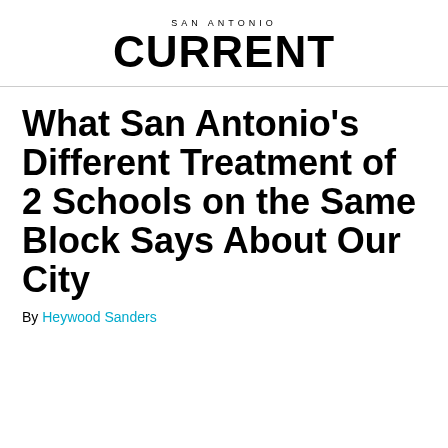SAN ANTONIO CURRENT
What San Antonio’s Different Treatment of 2 Schools on the Same Block Says About Our City
By Heywood Sanders